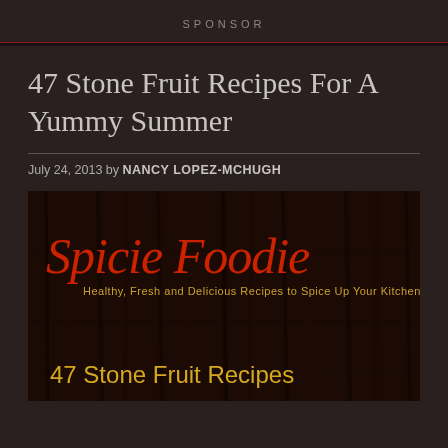SPONSOR
47 Stone Fruit Recipes For A Yummy Summer
July 24, 2013 by NANCY LOPEZ-MCHUGH
[Figure (photo): Book cover for Spicie Foodie cookbook showing dark wood background with red script logo text 'Spicie Foodie', tagline 'Healthy, Fresh and Delicious Recipes to Spice Up Your Kitchen!' and yellow text '47 Stone Fruit Recipes']